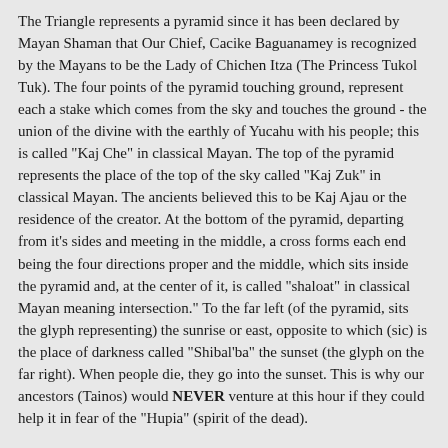The Triangle represents a pyramid since it has been declared by Mayan Shaman that Our Chief, Cacike Baguanamey is recognized by the Mayans to be the Lady of Chichen Itza (The Princess Tukol Tuk). The four points of the pyramid touching ground, represent each a stake which comes from the sky and touches the ground - the union of the divine with the earthly of Yucahu with his people; this is called "Kaj Che" in classical Mayan. The top of the pyramid represents the place of the top of the sky called "Kaj Zuk" in classical Mayan. The ancients believed this to be Kaj Ajau or the residence of the creator. At the bottom of the pyramid, departing from it's sides and meeting in the middle, a cross forms each end being the four directions proper and the middle, which sits inside the pyramid and, at the center of it, is called "shaloat" in classical Mayan meaning intersection." To the far left (of the pyramid, sits the glyph representing) the sunrise or east, opposite to which (sic) is the place of darkness called "Shibal'ba" the sunset (the glyph on the far right). When people die, they go into the sunset. This is why our ancestors (Tainos) would NEVER venture at this hour if they could help it in fear of the "Hupia" (spirit of the dead).
The encircling petroglyphs represent the different villages of our Taino people and the realm of the batey, the Sacred Ceremonial Plaza of our ancestors."
The four outside objects are: "The island in the top left-hand corner